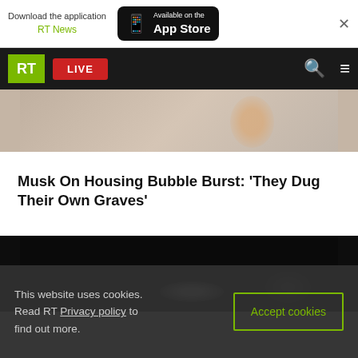Download the application RT News — Available on the App Store
RT LIVE
[Figure (photo): Partial photo of a person visible behind the RT navigation bar]
Musk On Housing Bubble Burst: 'They Dug Their Own Graves'
[Figure (photo): Dark background photo showing a blurred white cylindrical object]
This website uses cookies. Read RT Privacy policy to find out more.